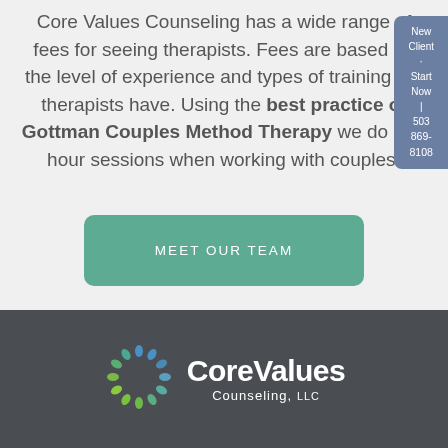New Client · Start Now | 503 869-8108
Core Values Counseling has a wide range of fees for seeing therapists. Fees are based on the level of experience and types of training the therapists have. Using the best practice of Gottman Couples Method Therapy we do 1.5-hour sessions when working with couples.
[Figure (other): Green teal rounded rectangle button with white uppercase text reading MEET OUR TEAM]
[Figure (logo): Core Values Counseling LLC logo: circular geometric design in blue, teal, and green next to white text CoreValues Counseling LLC on dark gray background]